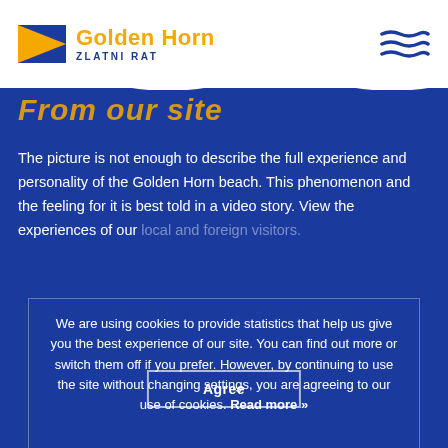[Figure (logo): Golden Horn Zlatni Rat logo with yellow triangular flag and blue/yellow text]
[Figure (illustration): Hamburger menu icon with three wavy horizontal lines in dark blue]
From our site
The picture is not enough to describe the full experience and personality of the Golden Horn beach. This phenomenon and the feeling for it is best told in a video story. View the experiences of our local and foreign visitors.
We are using cookies to provide statistics that help us give you the best experience of our site. You can find out more or switch them off if you prefer. However, by continuing to use the site without changing settings, you are agreeing to our use of cookies. Read more »
Agree